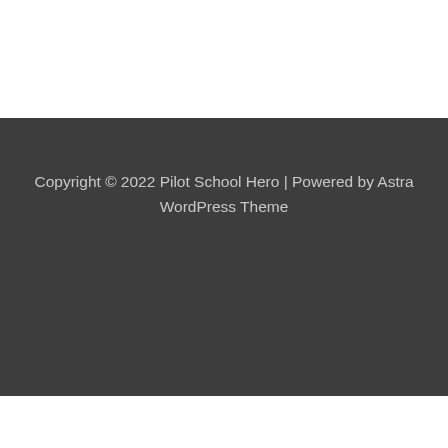Copyright © 2022 Pilot School Hero | Powered by Astra WordPress Theme